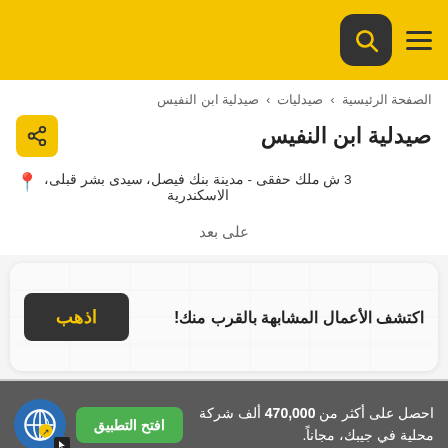صيدلية ابن النفيس
الصفحة الرئيسية › صيدليات › صيدلية ابن النفيس
صيدلية ابن النفيس
3 ش ملك حفقى - مدينة بنك فيصل، سيدى بشر قبلى، الاسكندرية
على بعد
[Figure (infographic): Promo banner with map background, dark button labeled اذهب, text: اكتشف الأعمال المشابهة بالقرب منك!]
احصل على أكثر من 470,000 ألف شركة محلية في جيبك، مجاناً.